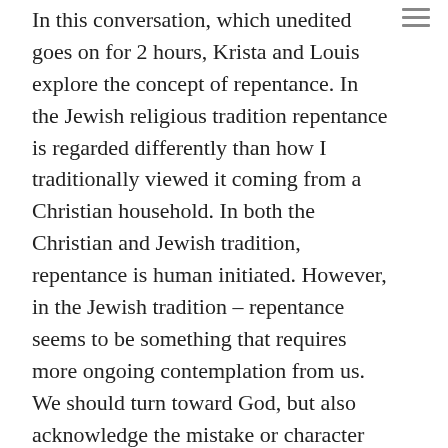In this conversation, which unedited goes on for 2 hours, Krista and Louis explore the concept of repentance. In the Jewish religious tradition repentance is regarded differently than how I traditionally viewed it coming from a Christian household. In both the Christian and Jewish tradition, repentance is human initiated. However, in the Jewish tradition – repentance seems to be something that requires more ongoing contemplation from us. We should turn toward God, but also acknowledge the mistake or character trait that led to sin, and then actively work on rectifying the mistake to the best of our ability. In the Christian tradition there can be an implicit suggestion that just the act of repentance is enough, but in the Jewish tradition there is such a focus on 'action' and fixing the problem